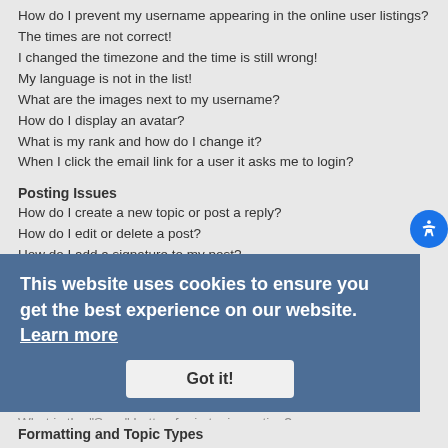How do I prevent my username appearing in the online user listings?
The times are not correct!
I changed the timezone and the time is still wrong!
My language is not in the list!
What are the images next to my username?
How do I display an avatar?
What is my rank and how do I change it?
When I click the email link for a user it asks me to login?
Posting Issues
How do I create a new topic or post a reply?
How do I edit or delete a post?
How do I add a signature to my post?
How do I create a poll?
Why can’t I add more poll options?
How do I edit or delete a poll?
Why can’t I access a forum?
Why can’t I add attachments?
Why did I receive a warning?
How can I report posts to a moderator?
What is the “Save” button for in topic posting?
Why does my post need to be approved?
How do I bump my topic?
Formatting and Topic Types
[Figure (other): Cookie consent banner overlay with text: 'This website uses cookies to ensure you get the best experience on our website. Learn more' and a 'Got it!' button.]